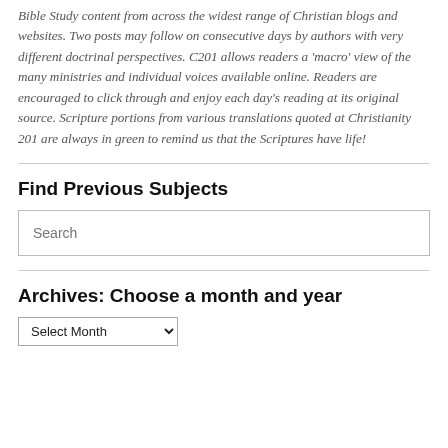Bible Study content from across the widest range of Christian blogs and websites. Two posts may follow on consecutive days by authors with very different doctrinal perspectives. C201 allows readers a 'macro' view of the many ministries and individual voices available online. Readers are encouraged to click through and enjoy each day's reading at its original source. Scripture portions from various translations quoted at Christianity 201 are always in green to remind us that the Scriptures have life!
Find Previous Subjects
Search
Archives: Choose a month and year
Select Month